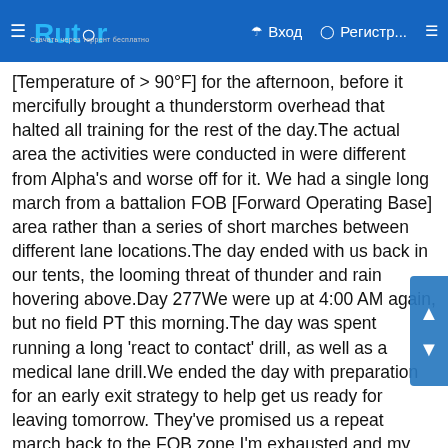Rutor | Вход | Регистр...
[Temperature of > 90°F] for the afternoon, before it mercifully brought a thunderstorm overhead that halted all training for the rest of the day.The actual area the activities were conducted in were different from Alpha's and worse off for it. We had a single long march from a battalion FOB [Forward Operating Base] area rather than a series of short marches between different lane locations.The day ended with us back in our tents, the looming threat of thunder and rain hovering above.Day 277We were up at 4:00 AM again, but no field PT this morning.The day was spent running a long 'react to contact' drill, as well as a medical lane drill.We ended the day with preparation for an early exit strategy to help get us ready for leaving tomorrow. They've promised us a repeat march back to the FOB zone.I'm exhausted and my cough is worse. The weather heating up even further doesn't help the situation.Day 278I was up earlier than normal to pack everything. We walked back to the FOB area again.I should have been done with this by now. I continue to cough and feel sick, but my work – the real hard work for BCT, is done.After returning to the company, we were given time